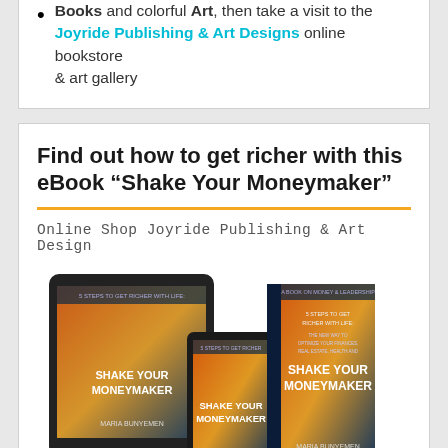Books and colorful Art, then take a visit to the Joyride Publishing & Art Designs online bookstore & art gallery
Find out how to get richer with this eBook “Shake Your Moneymaker”
Online Shop Joyride Publishing & Art Design
[Figure (illustration): Book covers for 'Shake Your Moneymaker' by Maria Bunyemen shown as tablet, phone, and physical book]